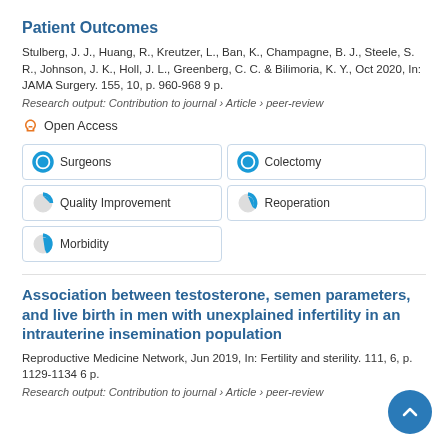Patient Outcomes
Stulberg, J. J., Huang, R., Kreutzer, L., Ban, K., Champagne, B. J., Steele, S. R., Johnson, J. K., Holl, J. L., Greenberg, C. C. & Bilimoria, K. Y., Oct 2020, In: JAMA Surgery. 155, 10, p. 960-968 9 p.
Research output: Contribution to journal › Article › peer-review
Open Access
Surgeons
Colectomy
Quality Improvement
Reoperation
Morbidity
Association between testosterone, semen parameters, and live birth in men with unexplained infertility in an intrauterine insemination population
Reproductive Medicine Network, Jun 2019, In: Fertility and sterility. 111, 6, p. 1129-1134 6 p.
Research output: Contribution to journal › Article › peer-review